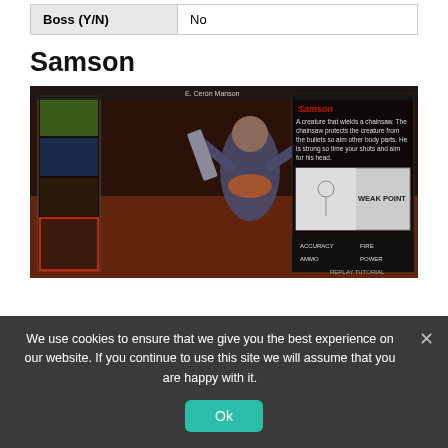| Boss (Y/N) | No |
| --- | --- |
Samson
[Figure (screenshot): Screenshot of a video game showing a large enemy character called Samson wielding a chainsaw in an indoor environment, with a creature info panel on the right side showing WEAK POINT and game UI elements.]
We use cookies to ensure that we give you the best experience on our website. If you continue to use this site we will assume that you are happy with it.